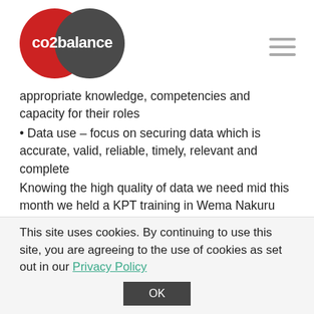[Figure (logo): co2balance logo: two overlapping circles (red left, dark gray right) with 'co2balance' text in white]
appropriate knowledge, competencies and capacity for their roles
• Data use – focus on securing data which is accurate, valid, reliable, timely, relevant and complete
Knowing the high quality of data we need mid this month we held a KPT training in Wema Nakuru County to train World Vision casuals on performing an effective Kitchen Performance Test (KPT). The KPT measures the relative
This site uses cookies. By continuing to use this site, you are agreeing to the use of cookies as set out in our Privacy Policy